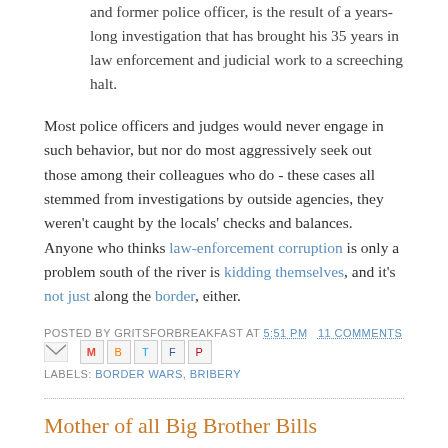and former police officer, is the result of a years-long investigation that has brought his 35 years in law enforcement and judicial work to a screeching halt.
Most police officers and judges would never engage in such behavior, but nor do most aggressively seek out those among their colleagues who do - these cases all stemmed from investigations by outside agencies, they weren't caught by the locals' checks and balances. Anyone who thinks law-enforcement corruption is only a problem south of the river is kidding themselves, and it's not just along the border, either.
POSTED BY GRITSFORBREAKFAST AT 5:51 PM   11 COMMENTS
LABELS: BORDER WARS, BRIBERY
Mother of all Big Brother Bills